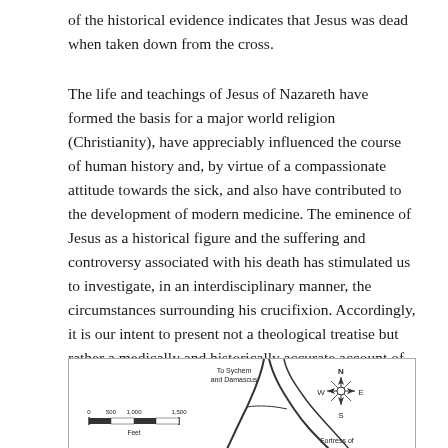of the historical evidence indicates that Jesus was dead when taken down from the cross.
The life and teachings of Jesus of Nazareth have formed the basis for a major world religion (Christianity), have appreciably influenced the course of human history and, by virtue of a compassionate attitude towards the sick, and also have contributed to the development of modern medicine. The eminence of Jesus as a historical figure and the suffering and controversy associated with his death has stimulated us to investigate, in an interdisciplinary manner, the circumstances surrounding his crucifixion. Accordingly, it is our intent to present not a theological treatise but rather a medically and historically accurate account of the physical death of the one called Jesus Christ.
[Figure (map): Partial map showing roads near Jerusalem area with compass rose (N/W/E/S), scale bar in Feet (0 500 1,000 1,500), label 'To Sychem and Damascus', and partial label 'Fortress of' at bottom right.]